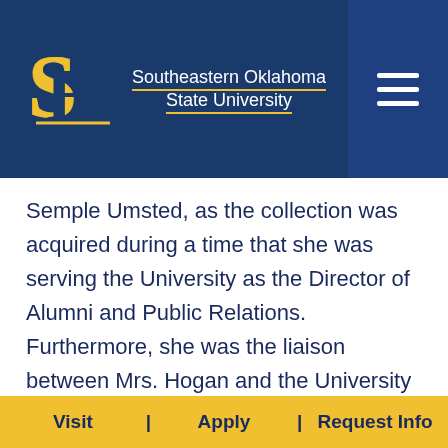[Figure (logo): Southeastern Oklahoma State University logo with SE letters in gold/blue and university name in white]
Semple Umsted, as the collection was acquired during a time that she was serving the University as the Director of Alumni and Public Relations. Furthermore, she was the liaison between Mrs. Hogan and the University and actually chose which pieces that were to be donated.

“Mrs. Hogan gifted her collection of Native American Art to Southeastern, but it has
Visit | Apply | Request Info